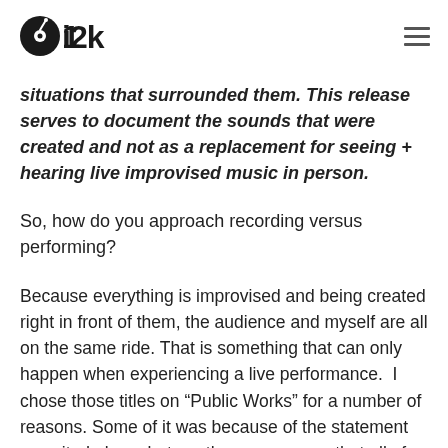i12k
situations that surrounded them.  This release serves to document the sounds that were created and not as a replacement for seeing + hearing live improvised music in person.
So, how do you approach recording versus performing?
Because everything is improvised and being created right in front of them, the audience and myself are all on the same ride. That is something that can only happen when experiencing a live performance.  I chose those titles on “Public Works” for a number of reasons. Some of it was because of the statement you cited above but another reason was that all of them we excerpts from live performances so the listener was already not getting the